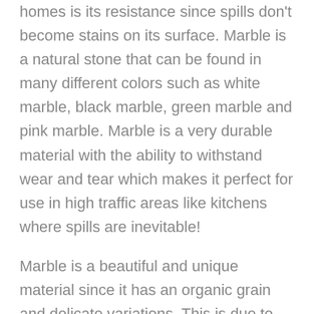homes is its resistance since spills don't become stains on its surface. Marble is a natural stone that can be found in many different colors such as white marble, black marble, green marble and pink marble. Marble is a very durable material with the ability to withstand wear and tear which makes it perfect for use in high traffic areas like kitchens where spills are inevitable!
Marble is a beautiful and unique material since it has an organic grain and delicate variations. This is due to the porous nature of marble, which allows it to breathe and react quickly to changes in temperature. This makes marble a simple-to-maintain countertop option that will endure for decades if properly maintained.